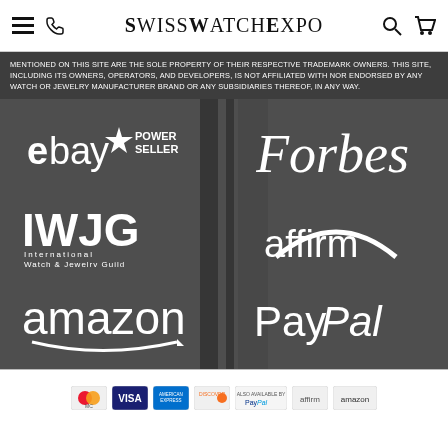SwissWatchExpo
MENTIONED ON THIS SITE ARE THE SOLE PROPERTY OF THEIR RESPECTIVE TRADEMARK OWNERS. THIS SITE, INCLUDING ITS OWNERS, OPERATORS, AND DEVELOPERS, IS NOT AFFILIATED WITH NOR ENDORSED BY ANY WATCH OR JEWELRY MANUFACTURER BRAND OR ANY SUBSIDIARIES THEREOF, IN ANY WAY.
[Figure (logo): Partner logos on dark background: eBay Power Seller, Forbes, IWJG International Watch & Jewelry Guild, affirm, amazon, PayPal]
Payment icons: MasterCard, VISA, American Express, Discover, PayPal, affirm, amazon